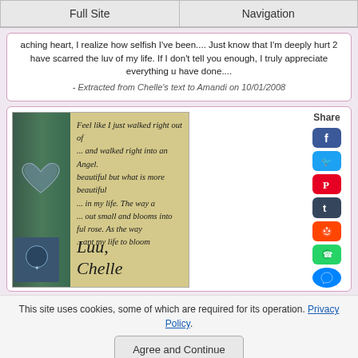Full Site | Navigation
aching heart, I realize how selfish I've been.... Just know that I'm deeply hurt 2 have scarred the luv of my life. If I don't tell you enough, I truly appreciate everything u have done.... - Extracted from Chelle's text to Amandi on 10/01/2008
[Figure (photo): A handwritten note on cream paper with cursive script reading a romantic poem, signed 'Chelle', alongside a dark green card with a heart design on the left]
Share
This site uses cookies, some of which are required for its operation. Privacy Policy.
Agree and Continue